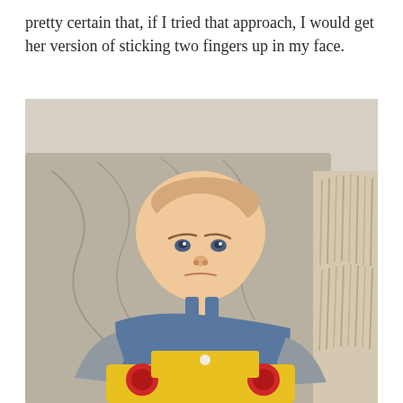pretty certain that, if I tried that approach, I would get her version of sticking two fingers up in my face.
[Figure (photo): A baby with a grumpy or displeased expression, wearing a denim dungaree outfit over a grey long-sleeve top, sitting on a sofa covered with a grey knit blanket with fringe. The baby is looking at the camera with furrowed brows. A yellow and red toy is visible in front of the baby.]